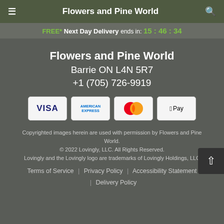Flowers and Pine World
FREE* Next Day Delivery ends in: 15:46:34
Flowers and Pine World
Barrie ON L4N 5R7
+1 (705) 726-9919
[Figure (other): Payment method icons: VISA, American Express, Mastercard, Apple Pay]
Copyrighted images herein are used with permission by Flowers and Pine World.
© 2022 Lovingly, LLC. All Rights Reserved.
Lovingly and the Lovingly logo are trademarks of Lovingly Holdings, LLC
Terms of Service | Privacy Policy | Accessibility Statement | Delivery Policy